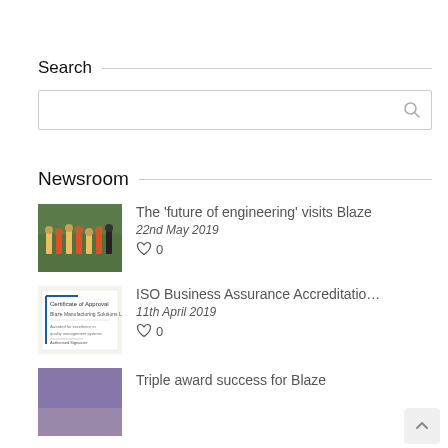Search
Newsroom
The ‘future of engineering’ visits Blaze
22nd May 2019
0
ISO Business Assurance Accreditatio…
11th April 2019
0
Triple award success for Blaze